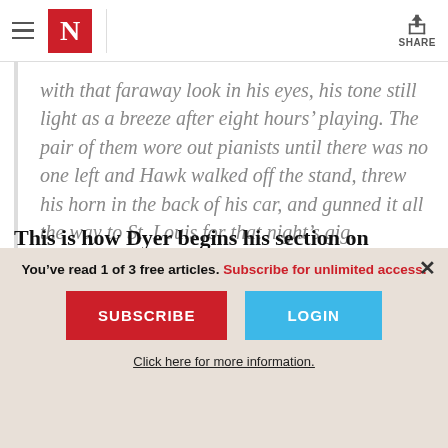N (The New Yorker logo) | SHARE
with that faraway look in his eyes, his tone still light as a breeze after eight hours' playing. The pair of them wore out pianists until there was no one left and Hawk walked off the stand, threw his horn in the back of his car, and gunned it all the way to St. Louis for that night's gig.
This is how Dyer begins his section on
You've read 1 of 3 free articles. Subscribe for unlimited access.
SUBSCRIBE
LOGIN
Click here for more information.